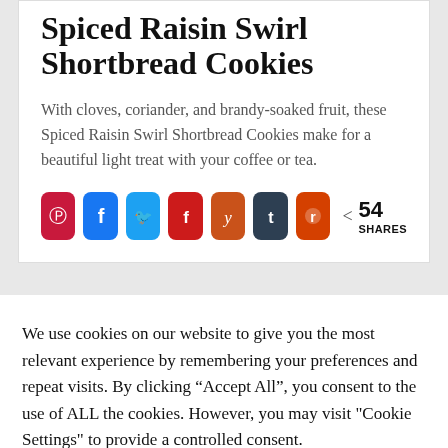Spiced Raisin Swirl Shortbread Cookies
With cloves, coriander, and brandy-soaked fruit, these Spiced Raisin Swirl Shortbread Cookies make for a beautiful light treat with your coffee or tea.
[Figure (infographic): Social share buttons row: Pinterest, Facebook, Twitter, Flipboard, Yummly, Tumblr, Reddit icons, plus share count showing 54 SHARES]
We use cookies on our website to give you the most relevant experience by remembering your preferences and repeat visits. By clicking “Accept All”, you consent to the use of ALL the cookies. However, you may visit "Cookie Settings" to provide a controlled consent.
Cookie Settings   Accept All